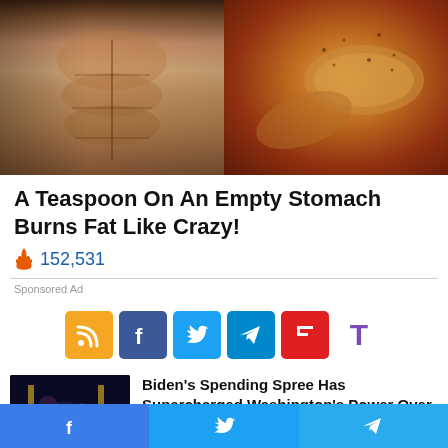[Figure (photo): Split image: left side shows a muscular torso with defined abs, right side shows a spoon of brown spice/powder]
A Teaspoon On An Empty Stomach Burns Fat Like Crazy!
🔥 152,531
Sponsored Ad
[Figure (infographic): Social share buttons: RSS (orange), Facebook (blue), Twitter (light blue), Telegram (blue), Flipboard (red), Tumblr T (purple)]
[Figure (photo): Photo of two people, appears to be political figures]
Biden's Spending Spree Has Supercharged Washington's Power Over The American People
[Figure (infographic): Bottom share bar with Facebook, Twitter, and Telegram icons]